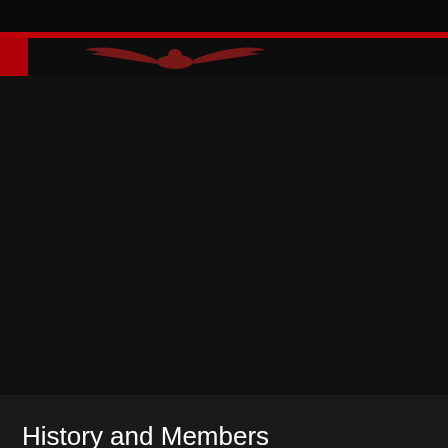[Figure (logo): Winged eagle logo illustration in dark red/crimson color on black background, part of a website header for a band]
HOME   MUSIC   BAND   PHOT
History and Members